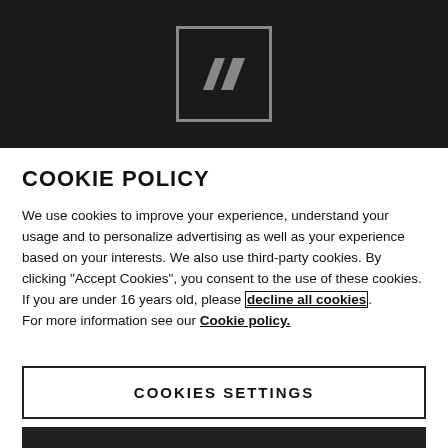[Figure (logo): Dark background header with a square logo box containing two parallelogram/chevron shapes in gray on dark background]
COOKIE POLICY
We use cookies to improve your experience, understand your usage and to personalize advertising as well as your experience based on your interests. We also use third-party cookies. By clicking "Accept Cookies", you consent to the use of these cookies. If you are under 16 years old, please decline all cookies. For more information see our Cookie policy.
COOKIES SETTINGS
ACCEPT ALL COOKIES